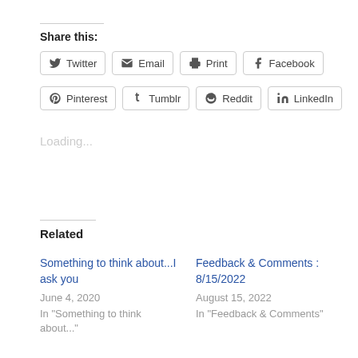Share this:
[Figure (other): Social share buttons: Twitter, Email, Print, Facebook, Pinterest, Tumblr, Reddit, LinkedIn]
Loading...
Related
Something to think about...I ask you
June 4, 2020
In "Something to think about..."
Feedback & Comments : 8/15/2022
August 15, 2022
In "Feedback & Comments"